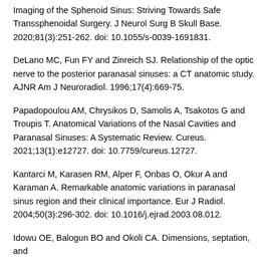Imaging of the Sphenoid Sinus: Striving Towards Safe Transsphenoidal Surgery. J Neurol Surg B Skull Base. 2020;81(3):251-262. doi: 10.1055/s-0039-1691831.
DeLano MC, Fun FY and Zinreich SJ. Relationship of the optic nerve to the posterior paranasal sinuses: a CT anatomic study. AJNR Am J Neuroradiol. 1996;17(4):669-75.
Papadopoulou AM, Chrysikos D, Samolis A, Tsakotos G and Troupis T. Anatomical Variations of the Nasal Cavities and Paranasal Sinuses: A Systematic Review. Cureus. 2021;13(1):e12727. doi: 10.7759/cureus.12727.
Kantarci M, Karasen RM, Alper F, Onbas O, Okur A and Karaman A. Remarkable anatomic variations in paranasal sinus region and their clinical importance. Eur J Radiol. 2004;50(3):296-302. doi: 10.1016/j.ejrad.2003.08.012.
Idowu OE, Balogun BO and Okoli CA. Dimensions, septation, and